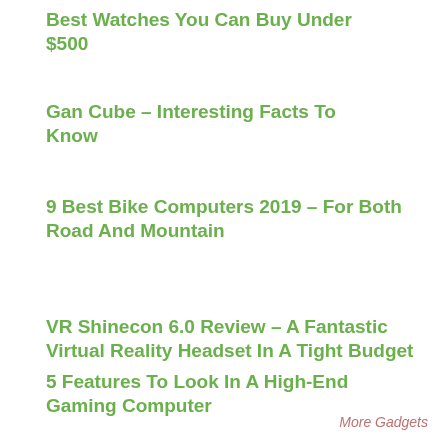Best Watches You Can Buy Under $500
Gan Cube – Interesting Facts To Know
9 Best Bike Computers 2019 – For Both Road And Mountain
VR Shinecon 6.0 Review – A Fantastic Virtual Reality Headset In A Tight Budget
5 Features To Look In A High-End Gaming Computer
More Gadgets